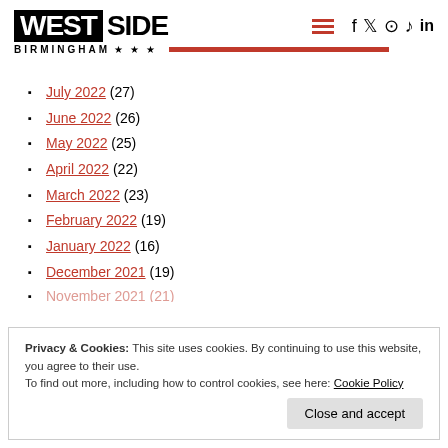WEST SIDE BIRMINGHAM — site header with logo, hamburger menu, and social icons (f, Twitter, Instagram, TikTok, LinkedIn)
July 2022 (27)
June 2022 (26)
May 2022 (25)
April 2022 (22)
March 2022 (23)
February 2022 (19)
January 2022 (16)
December 2021 (19)
Privacy & Cookies: This site uses cookies. By continuing to use this website, you agree to their use. To find out more, including how to control cookies, see here: Cookie Policy
Close and accept